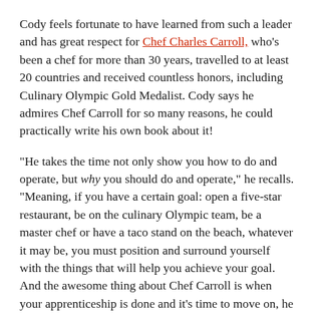Cody feels fortunate to have learned from such a leader and has great respect for Chef Charles Carroll, who's been a chef for more than 30 years, travelled to at least 20 countries and received countless honors, including Culinary Olympic Gold Medalist.  Cody says he admires Chef Carroll for so many reasons, he could practically write his own book about it!
"He takes the time not only show you how to do and operate, but why you should do and operate," he recalls.  "Meaning, if you have a certain goal:  open a five-star restaurant, be on the culinary Olympic team, be a master chef or have a taco stand on the beach, whatever it may be, you must position and surround yourself with the things that will help you achieve your goal.  And the awesome thing about Chef Carroll is when your apprenticeship is done and it's time to move on, he is so well-connected all over the country, he can help find you a job!"
Cody's mentor is continuing to influence him AND the culinary world at large.  First of all, Chef Carroll has written three books.